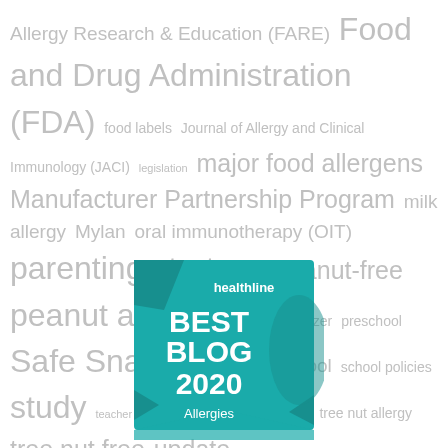Allergy Research & Education (FARE)  Food and Drug Administration (FDA)  food labels  Journal of Allergy and Clinical Immunology (JACI)  legislation  major food allergens  Manufacturer Partnership Program  milk allergy  Mylan  oral immunotherapy (OIT)  parenting strategy  peanut-free  peanut allergy  peanuts  Pfizer  preschool  Safe Snack Guide  school  school policies  study  teacher  tragedy  tragedy averted  tree nut allergy  tree nut free  update
[Figure (illustration): Healthline Best Blog 2020 Allergies badge - teal/turquoise colored badge with white text reading 'healthline' at top, 'BEST BLOG 2020' in large bold text, and 'Allergies' at bottom. Badge has a ribbon/bookmark shape with folded corners.]